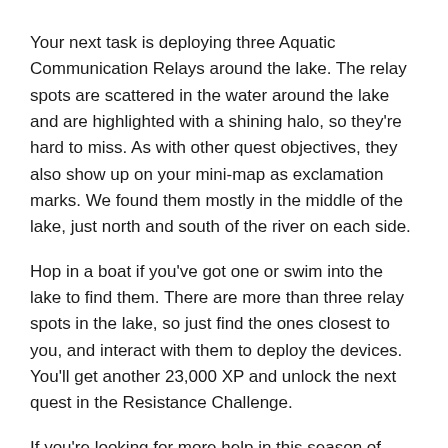Your next task is deploying three Aquatic Communication Relays around the lake. The relay spots are scattered in the water around the lake and are highlighted with a shining halo, so they're hard to miss. As with other quest objectives, they also show up on your mini-map as exclamation marks. We found them mostly in the middle of the lake, just north and south of the river on each side.
Hop in a boat if you've got one or swim into the lake to find them. There are more than three relay spots in the lake, so just find the ones closest to you, and interact with them to deploy the devices. You'll get another 23,000 XP and unlock the next quest in the Resistance Challenge.
If you're looking for more help in this season of Fortnite, check out how to find Jetpacks and where to find all Chapter 3, Season 2 NPCs.
Fortnite News
Fortnite Snap Quests - Where To Find All Tover Tokens And Unlock All Cosmetics